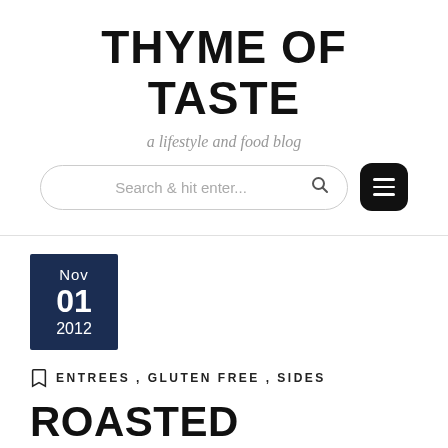THYME OF TASTE
a lifestyle and food blog
[Figure (other): Search bar with placeholder text 'Search & hit enter...' and a magnifying glass icon, plus a dark hamburger menu button]
Nov 01 2012
ENTREES, GLUTEN FREE, SIDES
ROASTED CARROT